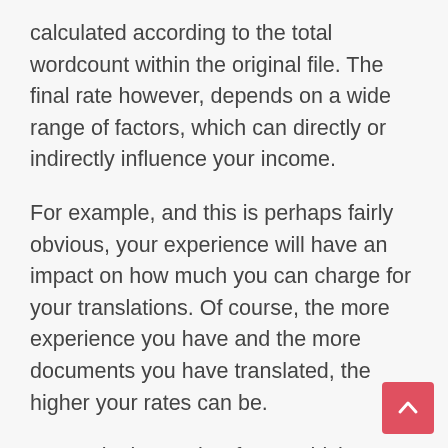calculated according to the total wordcount within the original file. The final rate however, depends on a wide range of factors, which can directly or indirectly influence your income.
For example, and this is perhaps fairly obvious, your experience will have an impact on how much you can charge for your translations. Of course, the more experience you have and the more documents you have translated, the higher your rates can be.
Interestingly, another factor which can directly influence your rate per word is the language pair you translate. Certain languages, for example French, German, Polish or Spanish tent to be slightly cheaper due to the number of